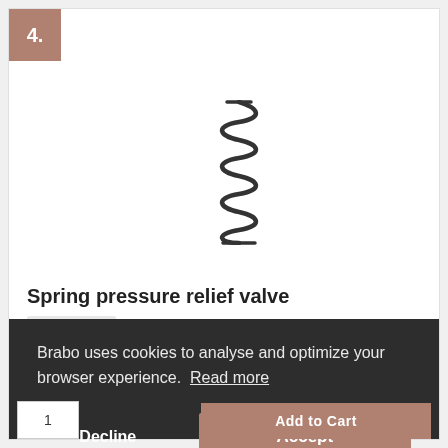4.
[Figure (illustration): A coil spring / compression spring shown vertically, with tightly wound metal coils, photographed against a white background.]
Spring pressure relief valve
BRABO part
Part Number    HEZ3343_BB
Brabo uses cookies to analyse and optimize your browser experience.  Read more
Decline
Accept
Add to Cart